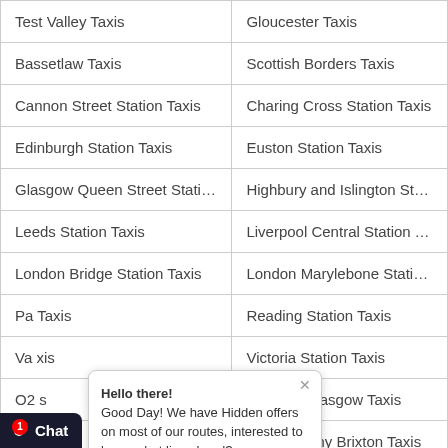| Test Valley Taxis | Gloucester Taxis |
| Bassetlaw Taxis | Scottish Borders Taxis |
| Cannon Street Station Taxis | Charing Cross Station Taxis |
| Edinburgh Station Taxis | Euston Station Taxis |
| Glasgow Queen Street Station Taxis | Highbury and Islington Station T |
| Leeds Station Taxis | Liverpool Central Station Taxis |
| London Bridge Station Taxis | London Marylebone Station Tax |
| Pa... Taxis | Reading Station Taxis |
| Va... xis | Victoria Station Taxis |
| O2... s | O2 ABC Glasgow Taxis |
| O2... l Taxis | O2 Academy Brixton Taxis |
| O2 Academy Leeds Taxis | O2 Academy Leicester Taxis |